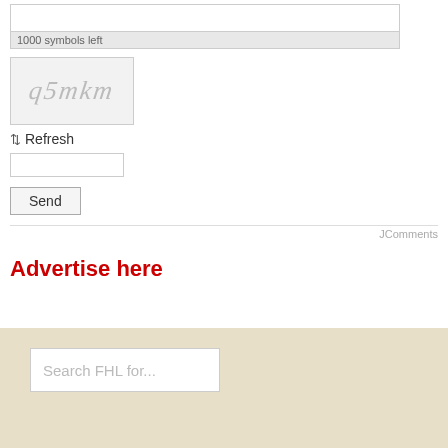1000 symbols left
[Figure (other): CAPTCHA image showing distorted alphanumeric text 'q5mkm' in gray italic style on light gray background]
⇄ Refresh
[captcha input field]
Send
JComments
Advertise here
Search FHL for...